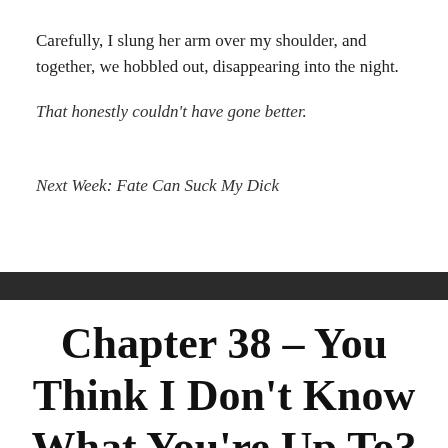Carefully, I slung her arm over my shoulder, and together, we hobbled out, disappearing into the night.
That honestly couldn't have gone better.
Next Week: Fate Can Suck My Dick
Chapter 38 – You Think I Don't Know What You're Up To?